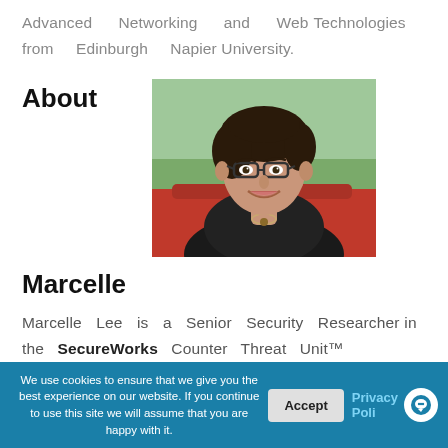Advanced Networking and Web Technologies from Edinburgh Napier University.
About
[Figure (photo): Portrait photo of Marcelle Lee, a woman with short dark hair and glasses, smiling, wearing a dark blazer, seated in front of a red background with greenery visible behind.]
Marcelle
Marcelle Lee is a Senior Security Researcher in the SecureWorks Counter Threat Unit™
We use cookies to ensure that we give you the best experience on our website. If you continue to use this site we will assume that you are happy with it.